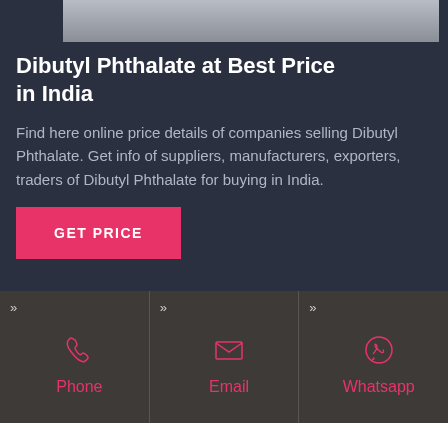[Figure (photo): Grayscale/silver image bar at top of page]
Dibutyl Phthalate at Best Price in India
Find here online price details of companies selling Dibutyl Phthalate. Get info of suppliers, manufacturers, exporters, traders of Dibutyl Phthalate for buying in India.
GET PRICE
[Figure (infographic): Three contact option tiles: Phone (phone icon), Email (envelope icon), Whatsapp (whatsapp icon), each with chevron markers and pink labels on dark brown background]